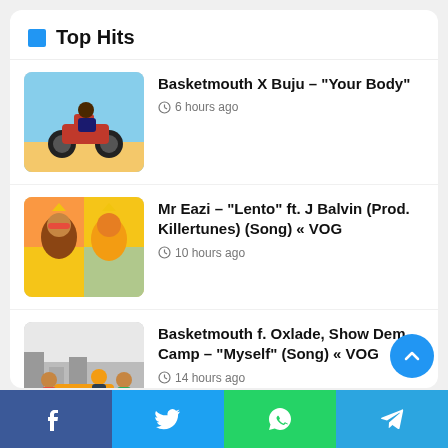Top Hits
Basketmouth X Buju – “Your Body”
6 hours ago
Mr Eazi – “Lento” ft. J Balvin (Prod. Killertunes) (Song) « VOG
10 hours ago
Basketmouth f. Oxlade, Show Dem Camp – “Myself” (Song) « VOG
14 hours ago
Mr Eazi Personal Baby (Song) « VOG
22 hours ago